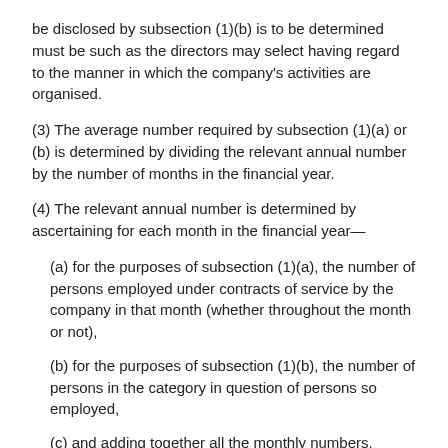be disclosed by subsection (1)(b) is to be determined must be such as the directors may select having regard to the manner in which the company's activities are organised.
(3) The average number required by subsection (1)(a) or (b) is determined by dividing the relevant annual number by the number of months in the financial year.
(4) The relevant annual number is determined by ascertaining for each month in the financial year—
(a) for the purposes of subsection (1)(a), the number of persons employed under contracts of service by the company in that month (whether throughout the month or not),
(b) for the purposes of subsection (1)(b), the number of persons in the category in question of persons so employed,
(c) and adding together all the monthly numbers.
(5) In respect of all persons employed by the company during the financial year who are taken into account in determining the